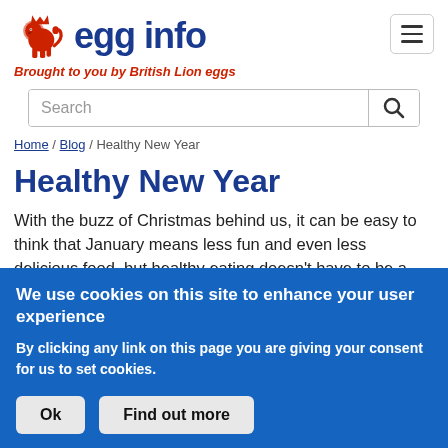[Figure (logo): British Lion eggs red lion logo with 'egg info' text in dark blue and tagline 'Brought to you by British Lion eggs' in red italic]
Search
Home / Blog / Healthy New Year
Healthy New Year
With the buzz of Christmas behind us, it can be easy to think that January means less fun and even less delicious food, but healthy eating doesn't have to be a chore with our
We use cookies on this site to enhance your user experience
By clicking any link on this page you are giving your consent for us to set cookies.
Ok
Find out more